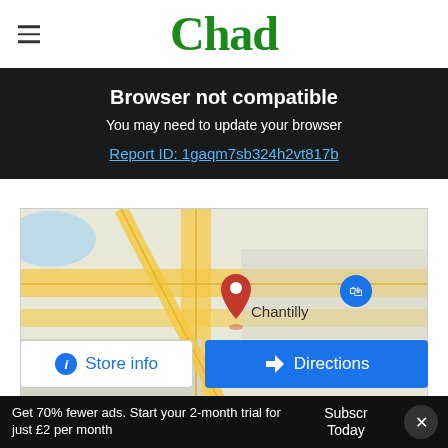Chad
Browser not compatible
You may need to update your browser
Report ID: 1gaqm7sb324h2vt817b
[Figure (map): Google Maps screenshot showing Chantilly area with a red location pin, yellow roads, and a blue shopping cart icon]
[Figure (screenshot): Store info and Directions buttons below map]
commissioner powers for a deal across
Nottinghamshire and Derbyshire, technically you're speaking on behalf of both counties and
Get 70% fewer ads. Start your 2-month trial for just £2 per month   Subscribe Today